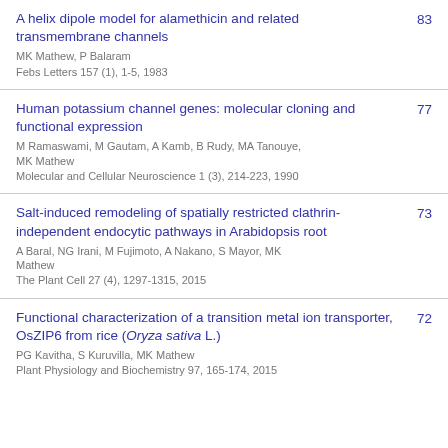A helix dipole model for alamethicin and related transmembrane channels
MK Mathew, P Balaram
Febs Letters 157 (1), 1-5, 1983
83
Human potassium channel genes: molecular cloning and functional expression
M Ramaswami, M Gautam, A Kamb, B Rudy, MA Tanouye, MK Mathew
Molecular and Cellular Neuroscience 1 (3), 214-223, 1990
77
Salt-induced remodeling of spatially restricted clathrin-independent endocytic pathways in Arabidopsis root
A Baral, NG Irani, M Fujimoto, A Nakano, S Mayor, MK Mathew
The Plant Cell 27 (4), 1297-1315, 2015
73
Functional characterization of a transition metal ion transporter, OsZIP6 from rice (Oryza sativa L.)
PG Kavitha, S Kuruvilla, MK Mathew
Plant Physiology and Biochemistry 97, 165-174, 2015
72